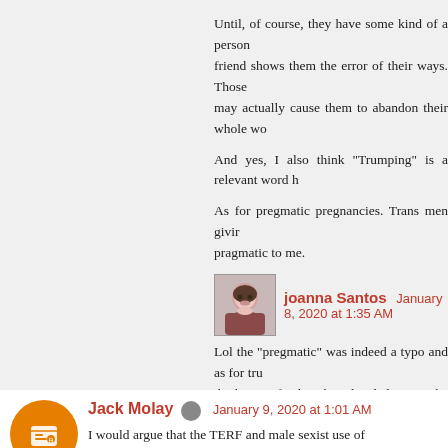Until, of course, they have some kind of a person... friend shows them the error of their ways. Those... may actually cause them to abandon their whole wo...
And yes, I also think "Trumping" is a relevant word h...
As for pregmatic pregnancies. Trans men givir... pragmatic to me.
joanna Santos  January 8, 2020 at 1:35 AM
Lol the "pregmatic" was indeed a typo and as for tru... the better of it but then decided to use the word an... for our times :)
Reply
Jack Molay  January 9, 2020 at 1:01 AM
I would argue that the TERF and male sexist use of... categorize men and women as belonging to completely disti... efficient way of forcing people to treat men and women... separating them culturally, socially, politically and legally by...